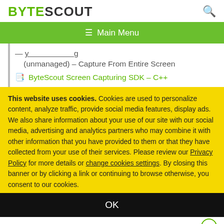BYTESCOUT
≡  Main Menu
(unmanaged) – Capture From Entire Screen
ByteScout Screen Capturing SDK – C++
This website uses cookies. Cookies are used to personalize content, analyze traffic, provide social media features, display ads. We also share information about your use of our site with our social media, advertising and analytics partners who may combine it with other information that you have provided to them or that they have collected from your use of their services. Please review our Privacy Policy for more details or change cookies settings. By closing this banner or by clicking a link or continuing to browse otherwise, you consent to our cookies.
OK